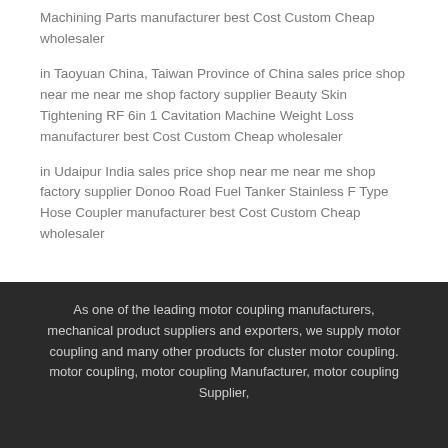Machining Parts manufacturer best Cost Custom Cheap wholesaler
in Taoyuan China, Taiwan Province of China sales price shop near me near me shop factory supplier Beauty Skin Tightening RF 6in 1 Cavitation Machine Weight Loss manufacturer best Cost Custom Cheap wholesaler
in Udaipur India sales price shop near me near me shop factory supplier Donoo Road Fuel Tanker Stainless F Type Hose Coupler manufacturer best Cost Custom Cheap wholesaler
As one of the leading motor coupling manufacturers, mechanical product suppliers and exporters, we supply motor coupling and many other products for cluster motor coupling. motor coupling, motor coupling Manufacturer, motor coupling Supplier,